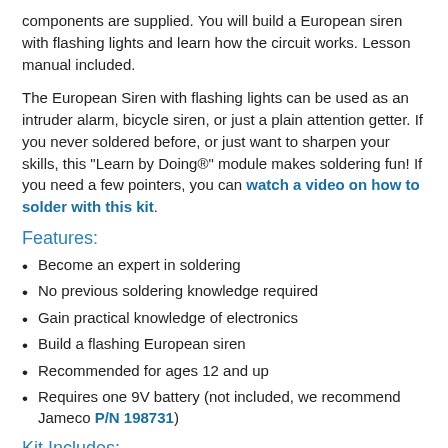components are supplied. You will build a European siren with flashing lights and learn how the circuit works. Lesson manual included.
The European Siren with flashing lights can be used as an intruder alarm, bicycle siren, or just a plain attention getter. If you never soldered before, or just want to sharpen your skills, this "Learn by Doing®" module makes soldering fun! If you need a few pointers, you can watch a video on how to solder with this kit.
Features:
Become an expert in soldering
No previous soldering knowledge required
Gain practical knowledge of electronics
Build a flashing European siren
Recommended for ages 12 and up
Requires one 9V battery (not included, we recommend Jameco P/N 198731)
Kit Includes: